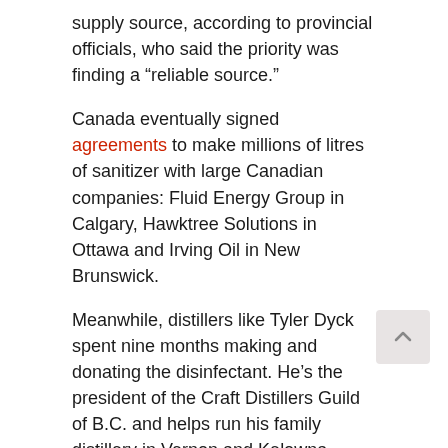supply source, according to provincial officials, who said the priority was finding a “reliable source.”
Canada eventually signed agreements to make millions of litres of sanitizer with large Canadian companies: Fluid Energy Group in Calgary, Hawktree Solutions in Ottawa and Irving Oil in New Brunswick.
Meanwhile, distillers like Tyler Dyck spent nine months making and donating the disinfectant. He’s the president of the Craft Distillers Guild of B.C. and helps run his family distillery in Vernon and Kelowna.
“It really is like a sucker punch in the gut,” said Dyck, CEO of Okanagan Spirits Craft Distillery.
WATCH | Distillers talk about being shut out of federal pandemic contracts:
B.C. distiller Tyler Dyck and others in the industry answered the government’s call to Canadian businesses to step up and help early in the pandemic and retooled